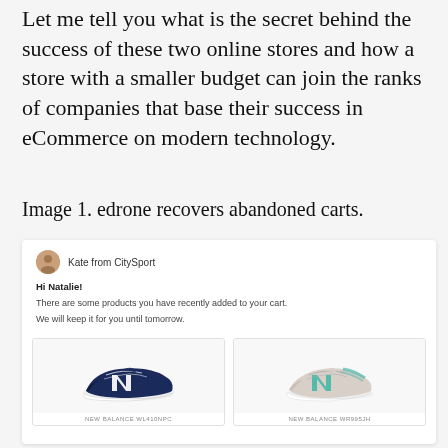Let me tell you what is the secret behind the success of these two online stores and how a store with a smaller budget can join the ranks of companies that base their success in eCommerce on modern technology.
Image 1. edrone recovers abandoned carts.
[Figure (screenshot): Screenshot of an abandoned cart recovery email from Kate from CitySport, addressed to Natalie, showing two New Balance sneaker products (WL410NPC navy blue and WR995JH pink/grey) with text: Hi Natalie! There are some products you have recently added to your cart. We will keep it for you until tomorrow.]